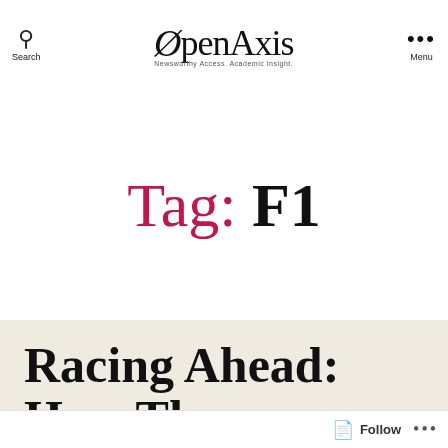Search | OpenAxis — Newsworthy Access. Academic Insight. | Menu
Tag: F1
Racing Ahead: How The
Follow ...